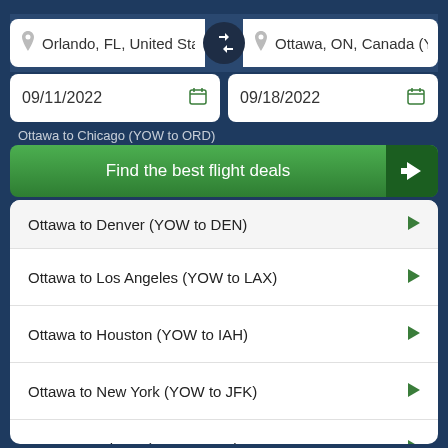Orlando, FL, United State
Ottawa, ON, Canada (Y
09/11/2022
09/18/2022
Ottawa to Chicago (YOW to ORD)
Find the best flight deals
Ottawa to Denver (YOW to DEN)
Ottawa to Los Angeles (YOW to LAX)
Ottawa to Houston (YOW to IAH)
Ottawa to New York (YOW to JFK)
Ottawa to Atlanta (YOW to ATL)
Ottawa to San Francisco (YOW to SFO)